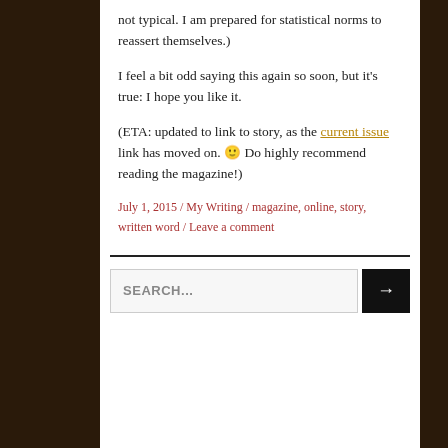not typical. I am prepared for statistical norms to reassert themselves.)
I feel a bit odd saying this again so soon, but it's true: I hope you like it.
(ETA: updated to link to story, as the current issue link has moved on. 🙂 Do highly recommend reading the magazine!)
July 1, 2015 / My Writing / magazine, online, story, written word / Leave a comment
SEARCH...